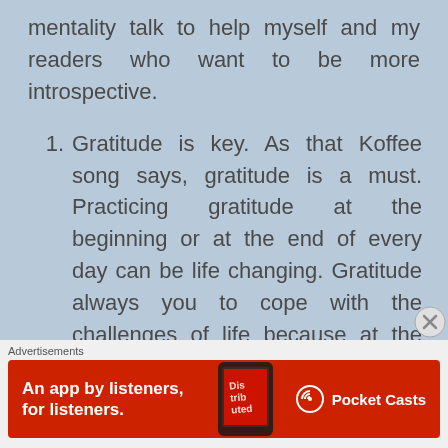mentality talk to help myself and my readers who want to be more introspective.
Gratitude is key. As that Koffee song says, gratitude is a must. Practicing gratitude at the beginning or at the end of every day can be life changing. Gratitude always you to cope with the challenges of life because at the end of the day you
[Figure (screenshot): Advertisement banner for Pocket Casts app on red background with text 'An app by listeners, for listeners.' and Pocket Casts logo]
Advertisements